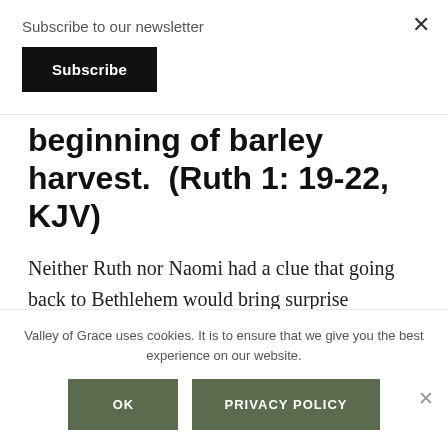Subscribe to our newsletter
Subscribe
beginning of barley harvest.  (Ruth 1: 19-22, KJV)
Neither Ruth nor Naomi had a clue that going back to Bethlehem would bring surprise provision itself.  They went
Valley of Grace uses cookies. It is to ensure that we give you the best experience on our website.
OK
PRIVACY POLICY